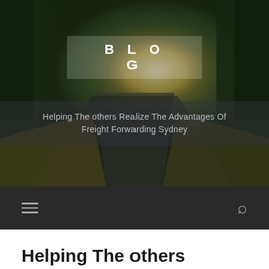[Figure (photo): Hero image of a road lined with trees, sunlight breaking through, with a semi-transparent dark overlay. Contains centered 'BLOG' text label in white bold uppercase, and a subtitle overlay text.]
BLOG
Helping The others Realize The Advantages Of Freight Forwarding Sydney
Navigation bar with hamburger menu and search icon
Helping The others Realize The Advantages Of Freight